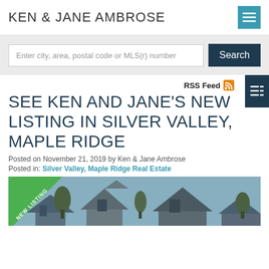KEN & JANE AMBROSE
Enter city, area, postal code or MLS(r) number
RSS Feed
SEE KEN AND JANE'S NEW LISTING IN SILVER VALLEY, MAPLE RIDGE
Posted on November 21, 2019 by Ken & Jane Ambrose
Posted in: Silver Valley, Maple Ridge Real Estate
[Figure (photo): Exterior photo of a house in Silver Valley, Maple Ridge with a NEW LISTING banner in the corner]